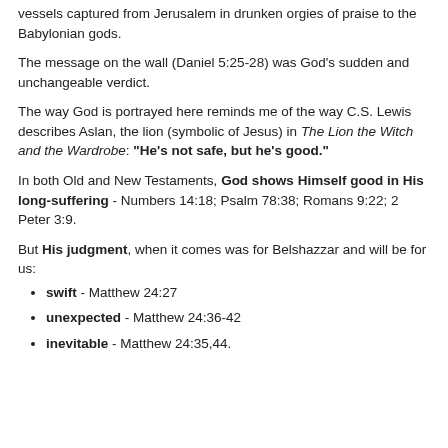vessels captured from Jerusalem in drunken orgies of praise to the Babylonian gods.
The message on the wall (Daniel 5:25-28) was God's sudden and unchangeable verdict.
The way God is portrayed here reminds me of the way C.S. Lewis describes Aslan, the lion (symbolic of Jesus) in The Lion the Witch and the Wardrobe: "He's not safe, but he's good."
In both Old and New Testaments, God shows Himself good in His long-suffering - Numbers 14:18; Psalm 78:38; Romans 9:22; 2 Peter 3:9.
But His judgment, when it comes was for Belshazzar and will be for us:
swift - Matthew 24:27
unexpected - Matthew 24:36-42
inevitable - Matthew 24:35,44.